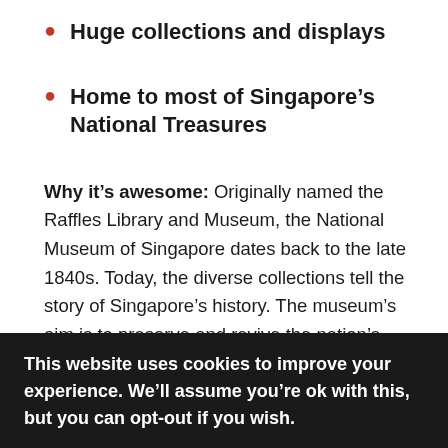Huge collections and displays
Home to most of Singapore's National Treasures
Why it's awesome: Originally named the Raffles Library and Museum, the National Museum of Singapore dates back to the late 1840s. Today, the diverse collections tell the story of Singapore's history. The museum's aim is to preserve and revive the nation's cultural heritage. Most of the country's National Treasures can be found in the large museum. The building itself is impressive both inside and out, with stained glass, a sweeping spiral staircase, wooden
This website uses cookies to improve your experience. We'll assume you're ok with this, but you can opt-out if you wish.